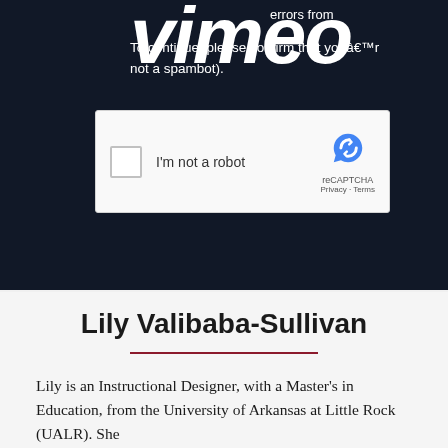[Figure (screenshot): Vimeo website error page with reCAPTCHA verification. Dark navy background with Vimeo logo in large white italic text. Text reads: 'errors from... To continue, please confirm that you're not a spambot). A reCAPTCHA checkbox widget is shown with 'I'm not a robot' label.]
Lily Valibaba-Sullivan
Lily is an Instructional Designer, with a Master's in Education, from the University of Arkansas at Little Rock (UALR). She...